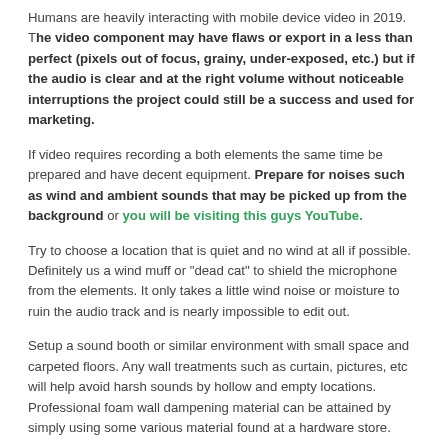Humans are heavily interacting with mobile device video in 2019. The video component may have flaws or export in a less than perfect (pixels out of focus, grainy, under-exposed, etc.) but if the audio is clear and at the right volume without noticeable interruptions the project could still be a success and used for marketing.
If video requires recording a both elements the same time be prepared and have decent equipment. Prepare for noises such as wind and ambient sounds that may be picked up from the background or you will be visiting this guys YouTube.
Try to choose a location that is quiet and no wind at all if possible. Definitely us a wind muff or "dead cat" to shield the microphone from the elements. It only takes a little wind noise or moisture to ruin the audio track and is nearly impossible to edit out.
Setup a sound booth or similar environment with small space and carpeted floors. Any wall treatments such as curtain, pictures, etc will help avoid harsh sounds by hollow and empty locations. Professional foam wall dampening material can be attained by simply using some various material found at a hardware store.
Going to film an interview? Invest in a lapel mic or a couple of them (wired amazon lapel mics $20). The quality difference can